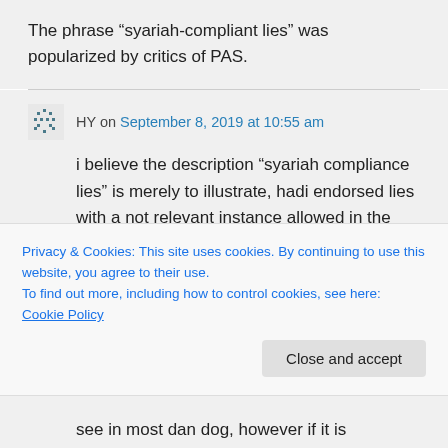The phrase “syariah-compliant lies” was popularized by critics of PAS.
HY on September 8, 2019 at 10:55 am
i believe the description “syariah compliance lies” is merely to illustrate, hadi endorsed lies with a not relevant instance allowed in the islamic law, its resemble a killer that
Privacy & Cookies: This site uses cookies. By continuing to use this website, you agree to their use.
To find out more, including how to control cookies, see here: Cookie Policy
Close and accept
see in most dan dog, however if it is